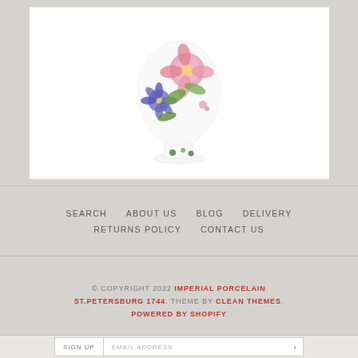[Figure (photo): White porcelain egg with colorful floral decorations (pink flowers, purple flowers, green leaves) on a small pedestal base, displayed on white background]
SEARCH
ABOUT US
BLOG
DELIVERY
RETURNS POLICY
CONTACT US
© COPYRIGHT 2022 IMPERIAL PORCELAIN ST.PETERSBURG 1744. THEME BY CLEAN THEMES. POWERED BY SHOPIFY
SIGN UP  EMAIL ADDRESS